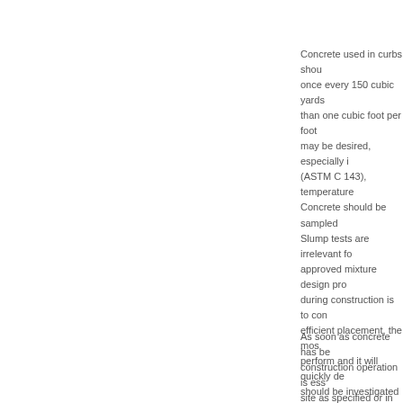Concrete used in curbs shou once every 150 cubic yards than one cubic foot per foot may be desired, especially i (ASTM C 143), temperature Concrete should be sampled Slump tests are irrelevant fo approved mixture design pro during construction is to con efficient placement, the mos perform and it will quickly de should be investigated by te testing.
As soon as concrete has be construction operation is ess site as specified or in accor moisture, from rain damage, Curing Concrete, is a valuab construction weather, protec membrane curing compoun